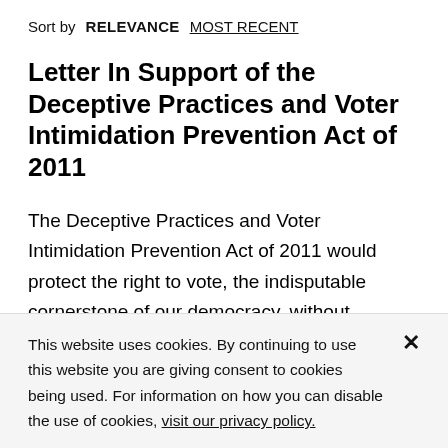Sort by  RELEVANCE  MOST RECENT
Letter In Support of the Deceptive Practices and Voter Intimidation Prevention Act of 2011
The Deceptive Practices and Voter Intimidation Prevention Act of 2011 would protect the right to vote, the indisputable cornerstone of our democracy, without interfering with rights granted under the First Amendment. Congress should act
This website uses cookies. By continuing to use this website you are giving consent to cookies being used. For information on how you can disable the use of cookies, visit our privacy policy.